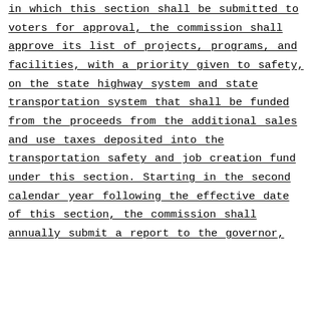in which this section shall be submitted to voters for approval, the commission shall approve its list of projects, programs, and facilities, with a priority given to safety, on the state highway system and state transportation system that shall be funded from the proceeds from the additional sales and use taxes deposited into the transportation safety and job creation fund under this section. Starting in the second calendar year following the effective date of this section, the commission shall annually submit a report to the governor,